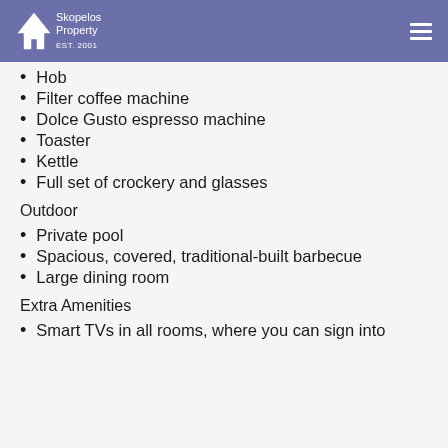Skopelos Property EST. 2001
Hob
Filter coffee machine
Dolce Gusto espresso machine
Toaster
Kettle
Full set of crockery and glasses
Outdoor
Private pool
Spacious, covered, traditional-built barbecue
Large dining room
Extra Amenities
Smart TVs in all rooms, where you can sign into